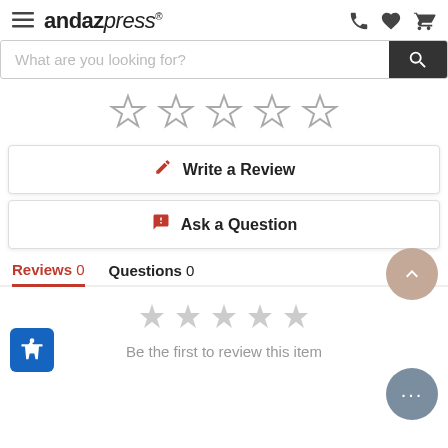andazpress® — navigation header with hamburger menu, phone, heart, and cart icons
What are you looking for?
[Figure (other): Five empty star rating icons]
✎ Write a Review
💬 Ask a Question
Reviews 0    Questions 0
[Figure (other): Accessibility icon button (blue square with white person figure)]
[Figure (other): Scroll-to-top button (beige circle with up chevron)]
[Figure (other): Chat button (grey circle with ellipsis)]
[Figure (other): Five grey star icons]
Be the first to review this item